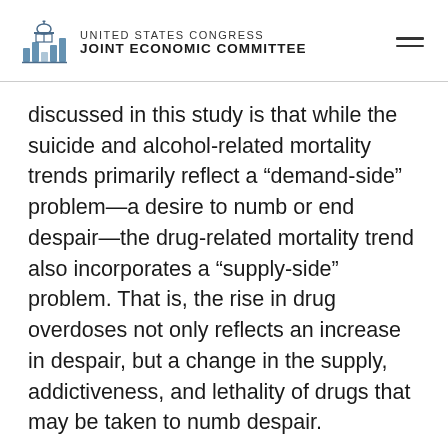UNITED STATES CONGRESS JOINT ECONOMIC COMMITTEE
discussed in this study is that while the suicide and alcohol-related mortality trends primarily reflect a “demand-side” problem—a desire to numb or end despair—the drug-related mortality trend also incorporates a “supply-side” problem. That is, the rise in drug overdoses not only reflects an increase in despair, but a change in the supply, addictiveness, and lethality of drugs that may be taken to numb despair.